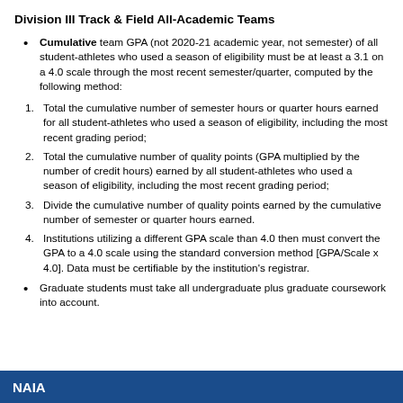Division III Track & Field All-Academic Teams
Cumulative team GPA (not 2020-21 academic year, not semester) of all student-athletes who used a season of eligibility must be at least a 3.1 on a 4.0 scale through the most recent semester/quarter, computed by the following method:
1. Total the cumulative number of semester hours or quarter hours earned for all student-athletes who used a season of eligibility, including the most recent grading period;
2. Total the cumulative number of quality points (GPA multiplied by the number of credit hours) earned by all student-athletes who used a season of eligibility, including the most recent grading period;
3. Divide the cumulative number of quality points earned by the cumulative number of semester or quarter hours earned.
4. Institutions utilizing a different GPA scale than 4.0 then must convert the GPA to a 4.0 scale using the standard conversion method [GPA/Scale x 4.0]. Data must be certifiable by the institution's registrar.
Graduate students must take all undergraduate plus graduate coursework into account.
NAIA